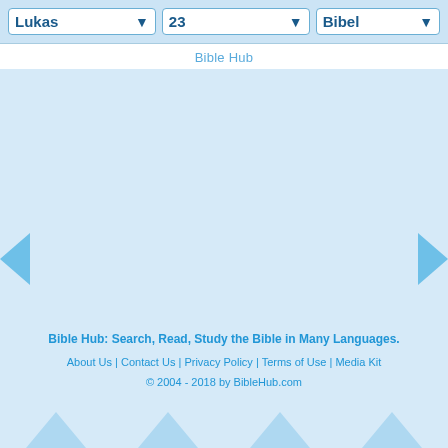Lukas | 23 | Bibel
Bible Hub
Bible Hub: Search, Read, Study the Bible in Many Languages.
About Us | Contact Us | Privacy Policy | Terms of Use | Media Kit
© 2004 - 2018 by BibleHub.com